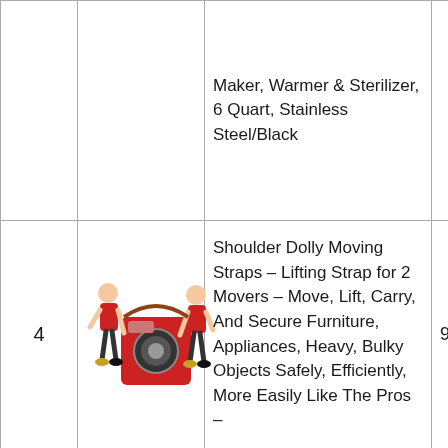| # | Image | Product | Price |
| --- | --- | --- | --- |
|  |  | Maker, Warmer & Sterilizer, 6 Quart, Stainless Steel/Black |  |
| 4 | [image: two movers carrying appliance] | Shoulder Dolly Moving Straps – Lifting Strap for 2 Movers – Move, Lift, Carry, And Secure Furniture, Appliances, Heavy, Bulky Objects Safely, Efficiently, More Easily Like The Pros – | 9.36 |